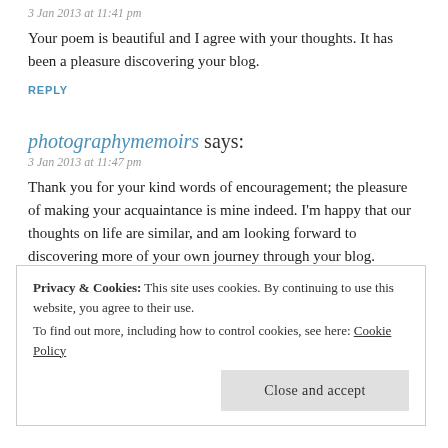3 Jan 2013 at 11:41 pm
Your poem is beautiful and I agree with your thoughts. It has been a pleasure discovering your blog.
REPLY
photographymemoirs says:
3 Jan 2013 at 11:47 pm
Thank you for your kind words of encouragement; the pleasure of making your acquaintance is mine indeed. I'm happy that our thoughts on life are similar, and am looking forward to discovering more of your own journey through your blog.
REPLY
Privacy & Cookies: This site uses cookies. By continuing to use this website, you agree to their use. To find out more, including how to control cookies, see here: Cookie Policy
Close and accept